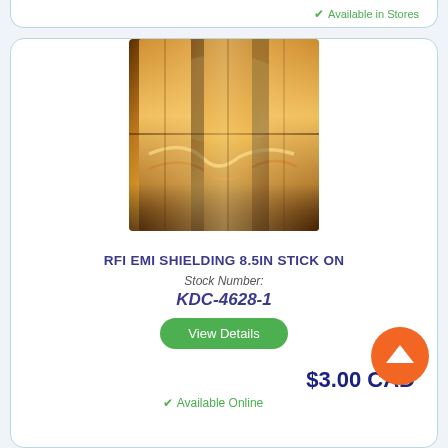✔ Available in Stores
[Figure (photo): Close-up photo of copper RFI EMI shielding material, showing metallic copper-colored strips with a bent/curved profile for stick-on application.]
RFI EMI SHIELDING 8.5IN STICK ON
Stock Number:
KDC-4628-1
View Details
$3.00 CAD
✔ Available Online